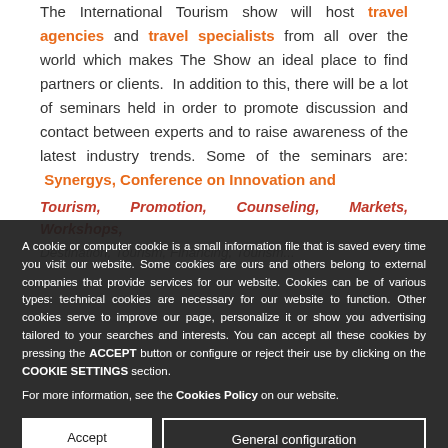The International Tourism show will host travel agencies and travel specialists from all over the world which makes The Show an ideal place to find partners or clients. In addition to this, there will be a lot of seminars held in order to promote discussion and contact between experts and to raise awareness of the latest industry trends. Some of the seminars are: Synergys, Conference on Innovation and Tourism, Promotion, Counseling, Markets, Workshops, Destination, Tourism, Financing, Tourism...
A cookie or computer cookie is a small information file that is saved every time you visit our website. Some cookies are ours and others belong to external companies that provide services for our website. Cookies can be of various types: technical cookies are necessary for our website to function. Other cookies serve to improve our page, personalize it or show you advertising tailored to your searches and interests. You can accept all these cookies by pressing the ACCEPT button or configure or reject their use by clicking on the COOKIE SETTINGS section. For more information, see the Cookies Policy on our website.
Accept | General configuration